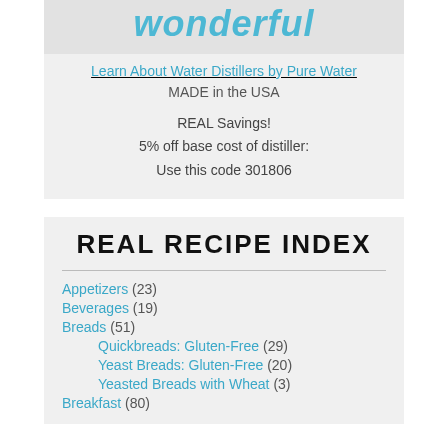[Figure (logo): Logo with italic text 'wonderful' in teal/blue color on a light gray background]
Learn About Water Distillers by Pure Water
MADE in the USA
REAL Savings!
5% off base cost of distiller:
Use this code 301806
REAL RECIPE INDEX
Appetizers (23)
Beverages (19)
Breads (51)
Quickbreads: Gluten-Free (29)
Yeast Breads: Gluten-Free (20)
Yeasted Breads with Wheat (3)
Breakfast (80)